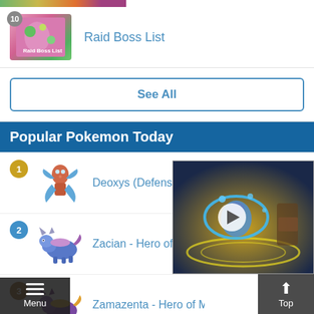[Figure (screenshot): Colorful game-related image strip at top]
10 Raid Boss List
See All
Popular Pokemon Today
1 Deoxys (Defense Forme)
2 Zacian - Hero of Many
3 Zamazenta - Hero of M
[Figure (screenshot): Video overlay showing a Pokemon battle scene with play button]